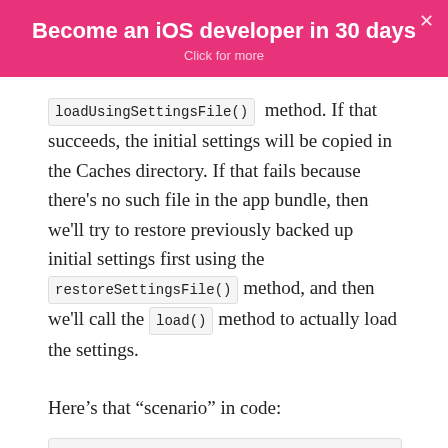Become an iOS developer in 30 days
Click for more
loadUsingSettingsFile() method. If that succeeds, the initial settings will be copied in the Caches directory. If that fails because there's no such file in the app bundle, then we'll try to restore previously backed up initial settings first using the restoreSettingsFile() method, and then we'll call the load() method to actually load the settings.
Here's that “scenario” in code: